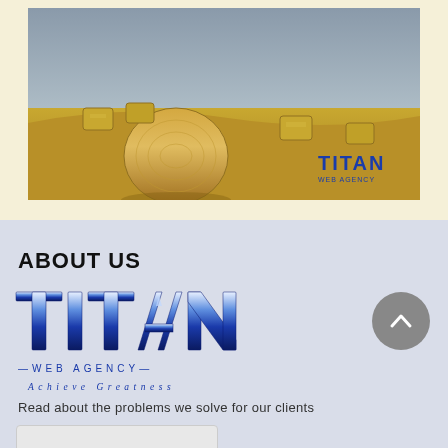[Figure (photo): Photograph of a wheat/hay field with multiple hay bales under a grey sky. A large round hay bale is prominent in the foreground and several rectangular bales are visible in the background. The Titan Web Agency logo text appears in the bottom-right corner of the image.]
ABOUT US
[Figure (logo): Titan Web Agency logo with large blue metallic 3D letters spelling TITAN, below which reads —WEB AGENCY— and Achieve Greatness in spaced lettering.]
Read about the problems we solve for our clients